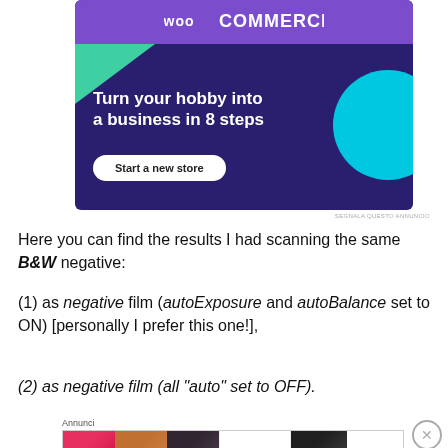[Figure (other): WooCommerce advertisement banner with purple background, 'Turn your hobby into a business in 8 steps' headline, and 'Start a new store' button]
Here you can find the results I had scanning the same B&W negative:
(1) as negative film (autoExposure and autoBalance set to ON) [personally I prefer this one!],
(2) as negative film (all “auto” set to OFF).
[Figure (other): Ulta Beauty advertisement banner with makeup images and 'SHOP NOW' text]